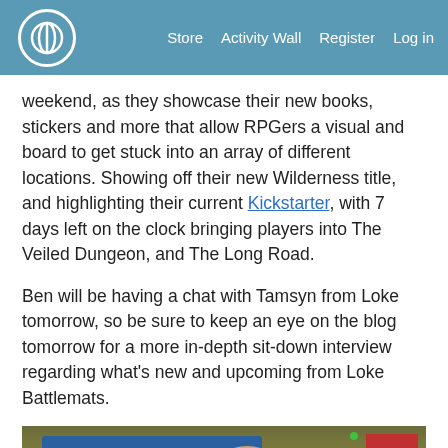Store   Activity Wall   Register   Log in
weekend, as they showcase their new books, stickers and more that allow RPGers a visual and board to get stuck into an array of different locations. Showing off their new Wilderness title, and highlighting their current Kickstarter, with 7 days left on the clock bringing players into The Veiled Dungeon, and The Long Road.
Ben will be having a chat with Tamsyn from Loke tomorrow, so be sure to keep an eye on the blog tomorrow for a more in-depth sit-down interview regarding what's new and upcoming from Loke Battlemats.
[Figure (photo): A photo of two people at what appears to be a convention booth for Loke Battle Mats, with a blue banner, display materials, and a red banner visible in the background.]